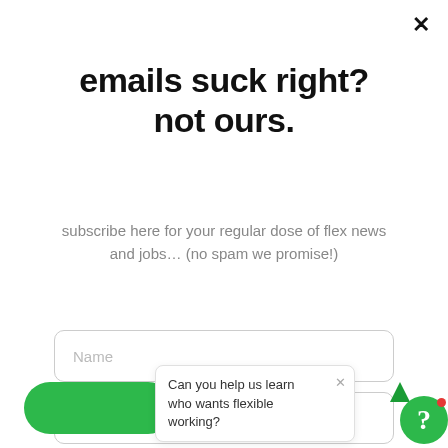emails suck right? not ours.
subscribe here for your regular dose of flex news and jobs… (no spam we promise!)
[Figure (screenshot): Email subscription form with Name and Email input fields, a green submit button, and a chat bubble overlay at the bottom saying 'Can you help us learn who wants flexible working?' with a green question mark help icon]
Can you help us learn who wants flexible working?